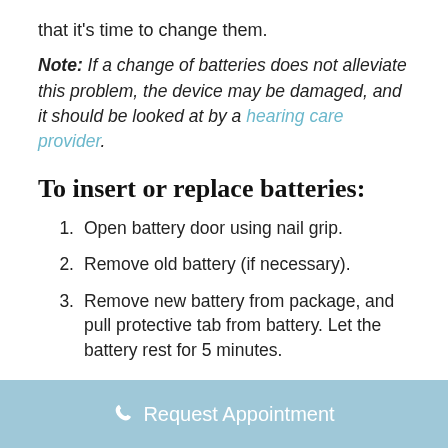that it's time to change them.
Note: If a change of batteries does not alleviate this problem, the device may be damaged, and it should be looked at by a hearing care provider.
To insert or replace batteries:
1. Open battery door using nail grip.
2. Remove old battery (if necessary).
3. Remove new battery from package, and pull protective tab from battery. Let the battery rest for 5 minutes.
Request Appointment